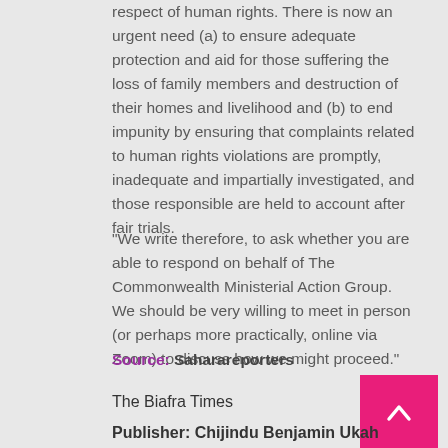respect of human rights. There is now an urgent need (a) to ensure adequate protection and aid for those suffering the loss of family members and destruction of their homes and livelihood and (b) to end impunity by ensuring that complaints related to human rights violations are promptly, inadequate and impartially investigated, and those responsible are held to account after fair trials.
"We write therefore, to ask whether you are able to respond on behalf of The Commonwealth Ministerial Action Group.  We should be very willing to meet in person (or perhaps more practically, online via Zoom) to discuss how we might proceed."
Source: Saharareporters
The Biafra Times
Publisher: Chijindu Benjamin Ukah